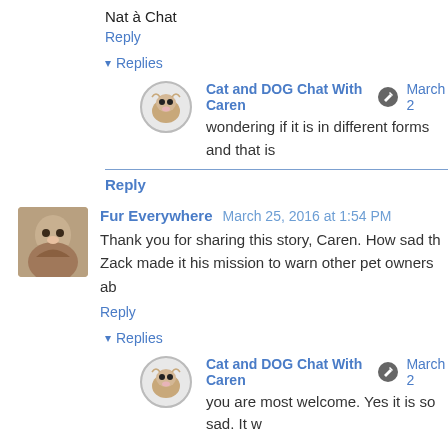Nat à Chat
Reply
Replies
Cat and DOG Chat With Caren  March 2
wondering if it is in different forms and that is
Reply
Fur Everywhere  March 25, 2016 at 1:54 PM
Thank you for sharing this story, Caren. How sad th Zack made it his mission to warn other pet owners ab
Reply
Replies
Cat and DOG Chat With Caren  March 2
you are most welcome. Yes it is so sad. It w